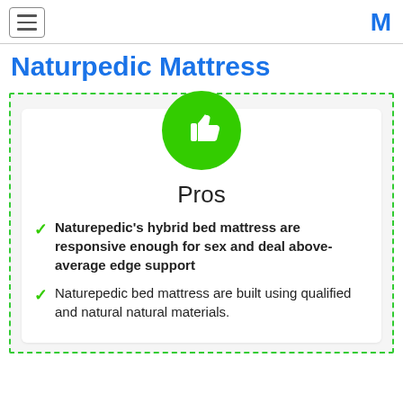Naturpedic Mattress
Naturpedic Mattress
[Figure (illustration): Green circle with white thumbs-up icon, labeled Pros]
Pros
Naturepedic's hybrid bed mattress are responsive enough for sex and deal above-average edge support
Naturepedic bed mattress are built using qualified and natural natural materials.